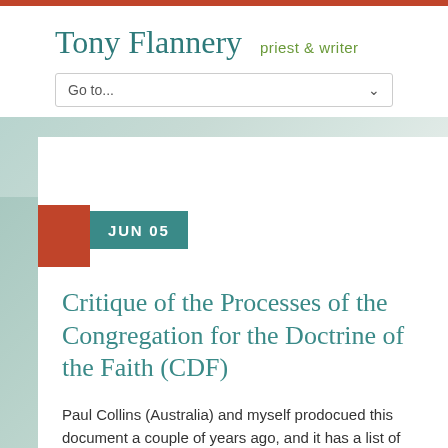Tony Flannery  priest & writer
Go to...
JUN 05
Critique of the Processes of the Congregation for the Doctrine of the Faith (CDF)
Paul Collins (Australia) and myself prodocued this document a couple of years ago, and it has a list of